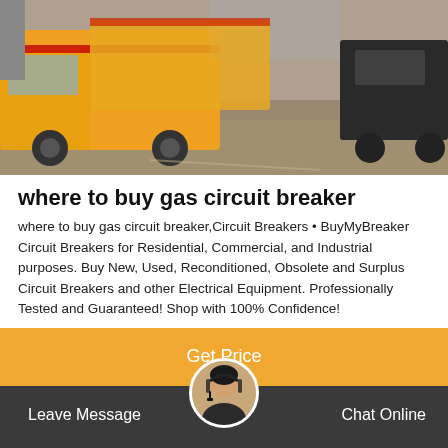[Figure (photo): Outdoor scene with yellow/orange trucks parked on a dirt/gravel area with buildings in background]
where to buy gas circuit breaker
where to buy gas circuit breaker,Circuit Breakers • BuyMyBreaker Circuit Breakers for Residential, Commercial, and Industrial purposes. Buy New, Used, Reconditioned, Obsolete and Surplus Circuit Breakers and other Electrical Equipment. Professionally Tested and Guaranteed! Shop with 100% Confidence!
Get Price
Leave Message
Chat Online